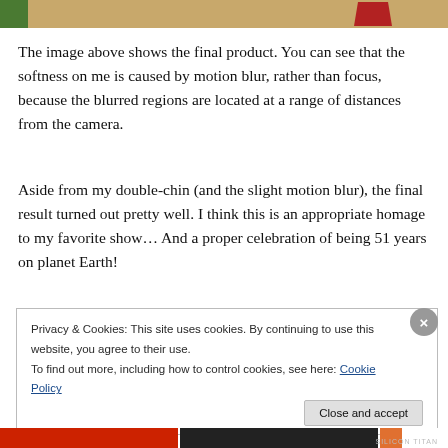[Figure (photo): Top strip showing partial photo of a person wearing a beige/khaki outfit with a red collar/tie]
The image above shows the final product. You can see that the softness on me is caused by motion blur, rather than focus, because the blurred regions are located at a range of distances from the camera.
Aside from my double-chin (and the slight motion blur), the final result turned out pretty well. I think this is an appropriate homage to my favorite show… And a proper celebration of being 51 years on planet Earth!
Privacy & Cookies: This site uses cookies. By continuing to use this website, you agree to their use.
To find out more, including how to control cookies, see here: Cookie Policy
Close and accept